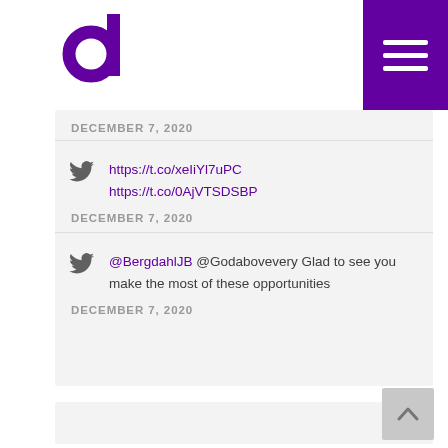[Figure (logo): Purple letter d logo]
[Figure (other): Purple hamburger menu button top right]
DECEMBER 7, 2020
https://t.co/xeIiYl7uPC
https://t.co/0AjVTSDSBP
DECEMBER 7, 2020
@BergdahlJB @Godabovevery Glad to see you make the most of these opportunities
DECEMBER 7, 2020